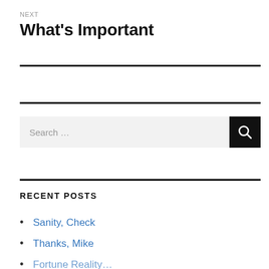NEXT
What's Important
Search …
RECENT POSTS
Sanity, Check
Thanks, Mike
Fortune Reality...